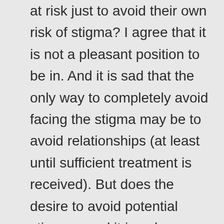at risk just to avoid their own risk of stigma? I agree that it is not a pleasant position to be in. And it is sad that the only way to completely avoid facing the stigma may be to avoid relationships (at least until sufficient treatment is received). But does the desire to avoid potential stigma – and it is only potential since many people who get in relationships with people with BPD are extremely understanding and forgiving almost to a fault – justify putting the other person at risk of serious mental and emotional agony without a chance to consciously consent?